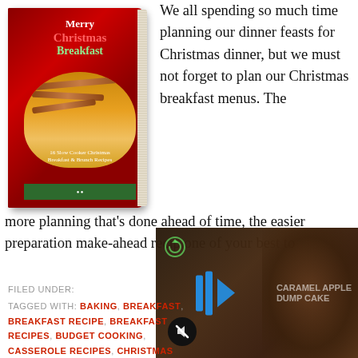[Figure (photo): Book cover: Merry Christmas Breakfast, 16 Slow Cooker Christmas Breakfast & Brunch Recipes, shown as a 3D book with food image on cover]
We all spending so much time planning our dinner feasts for Christmas dinner, but we must not forget to plan our Christmas breakfast menus. The more planning that’s done ahead of time, the easier preparation… make-ahead recip… one of your best to…
[Figure (screenshot): Video overlay showing Caramel Apple Dump Cake with play button and mute icon]
FILED UNDER:
TAGGED WITH: BAKING, BREAKFAST, BREAKFAST RECIPE, BREAKFAST RECIPES, BUDGET COOKING, CASSEROLE RECIPES, CHRISTMAS RECIPES, EASY, HOLIDAY RECIPES, IN SEASON, SLOW COOKER RECIPES